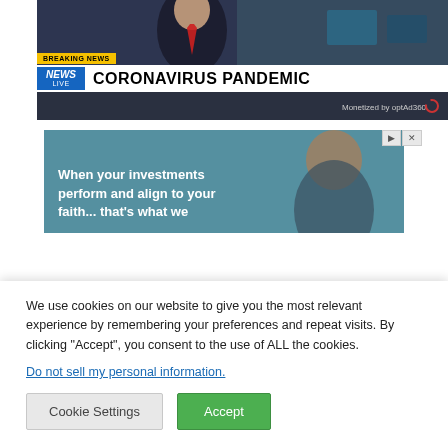[Figure (screenshot): News broadcast screenshot showing a news anchor with 'BREAKING NEWS' banner and 'CORONAVIRUS PANDEMIC' headline, with 'Monetized by optAd360' label]
[Figure (screenshot): Advertisement image showing a person with text 'When your investments perform and align to your faith... that's what we' on a blue background, with ad controls (triangle and X buttons)]
We use cookies on our website to give you the most relevant experience by remembering your preferences and repeat visits. By clicking "Accept", you consent to the use of ALL the cookies.
Do not sell my personal information.
Cookie Settings
Accept